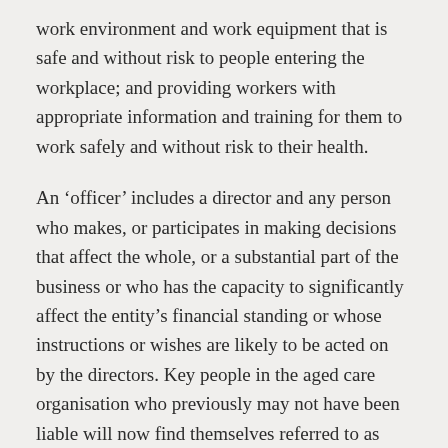work environment and work equipment that is safe and without risk to people entering the workplace; and providing workers with appropriate information and training for them to work safely and without risk to their health.
An ‘officer’ includes a director and any person who makes, or participates in making decisions that affect the whole, or a substantial part of the business or who has the capacity to significantly affect the entity’s financial standing or whose instructions or wishes are likely to be acted on by the directors. Key people in the aged care organisation who previously may not have been liable will now find themselves referred to as ‘officers’.
The new legislation imposes onerous obligations on officers of PCBUs to exercise due diligence to ensure